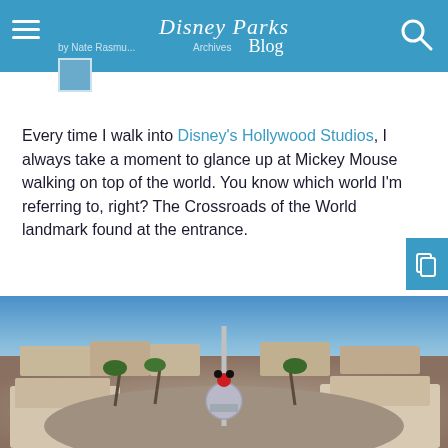Disney Parks Blog — by Nate Rasmus... Archives
Every time I walk into Disney's Hollywood Studios, I always take a moment to glance up at Mickey Mouse walking on top of the world. You know which world I'm referring to, right? The Crossroads of the World landmark found at the entrance.
[Figure (photo): Aerial fisheye view of Disney's Hollywood Studios entrance area showing the Crossroads of the World globe landmark with Mickey Mouse on top, surrounded by park buildings, palm trees, and blue sky.]